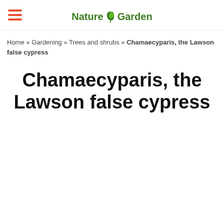Nature & Garden
Home » Gardening » Trees and shrubs » Chamaecyparis, the Lawson false cypress
Chamaecyparis, the Lawson false cypress